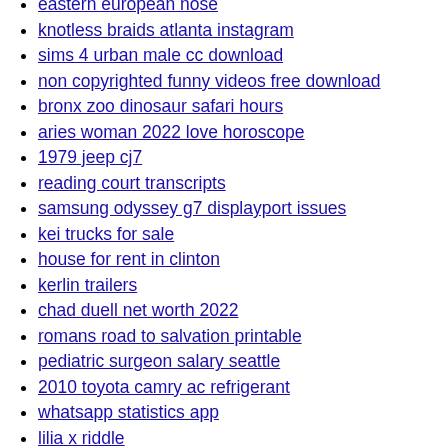eastern european nose
knotless braids atlanta instagram
sims 4 urban male cc download
non copyrighted funny videos free download
bronx zoo dinosaur safari hours
aries woman 2022 love horoscope
1979 jeep cj7
reading court transcripts
samsung odyssey g7 displayport issues
kei trucks for sale
house for rent in clinton
kerlin trailers
chad duell net worth 2022
romans road to salvation printable
pediatric surgeon salary seattle
2010 toyota camry ac refrigerant
whatsapp statistics app
lilia x riddle
espn fantasy football positions
list all subdirectories python
modern builders supply ohio
bmw active sound system
cup holder for car window
75 savings rate
kenworth cecu problems